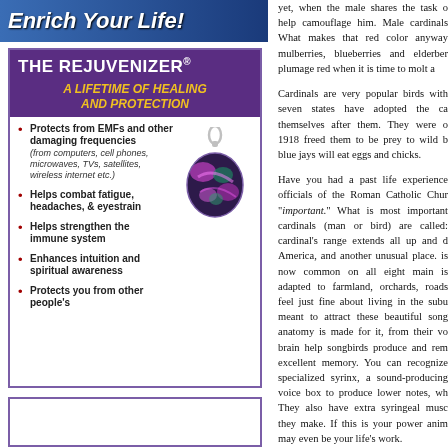[Figure (illustration): Banner with italic bold white text 'Enrich Your Life!' on dark blue gradient background]
[Figure (infographic): The Rejuvenizer advertisement box with purple header, gold italic subtitle 'A Lifetime of Healing and Protection', bullet points listing benefits, and pendant image]
yet, when the male shares the task of help camouflage him. Male cardinals What makes that red color anyway mulberries, blueberries and elderber plumage red when it is time to molt a
Cardinals are very popular birds with seven states have adopted the ca themselves after them. They were o 1918 freed them to be prey to wild blue jays will eat eggs and chicks.
Have you had a past life experience officials of the Roman Catholic Chur "important." What is most important cardinals (man or bird) are called: cardinal's range extends all up and America, and another unusual place. is now common on all eight main is adapted to farmland, orchards, roads feel just fine about living in the sub meant to attract these beautiful song anatomy is made for it, from their v brain help songbirds produce and re excellent memory. You can recognize specialized syrinx, a sound-producing voice box to produce lower notes, w They also have extra syringeal musc they make. If this is your power ani may even be your life's work.